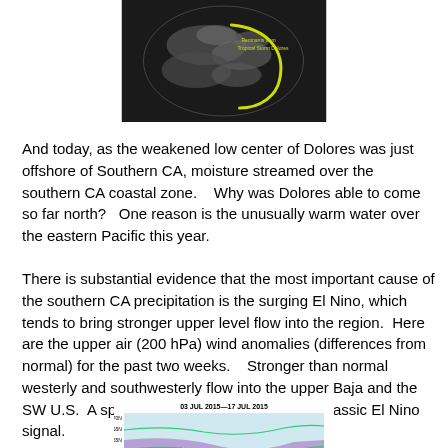[Figure (photo): Satellite image of Tropical Storm Dolores showing spiral cloud bands with yellow outline annotation on dark background]
And today, as the weakened low center of Dolores was just offshore of Southern CA, moisture streamed over the southern CA coastal zone.    Why was Dolores able to come so far north?   One reason is the unusually warm water over the eastern Pacific this year.
There is substantial evidence that the most important cause of the southern CA precipitation is the surging El Nino, which tends to bring stronger upper level flow into the region.  Here are the upper air (200 hPa) wind anomalies (differences from normal) for the past two weeks.   Stronger than normal westerly and southwesterly flow into the upper Baja and the  SW U.S.  A split flow west of the Northwest.  Classic El Nino signal.
[Figure (map): Upper air 200 hPa wind anomalies weather map for 03 JUL 2015-17 JUL 2015 showing colored contours over North Pacific and North America with latitude markers from 45N to 70N]